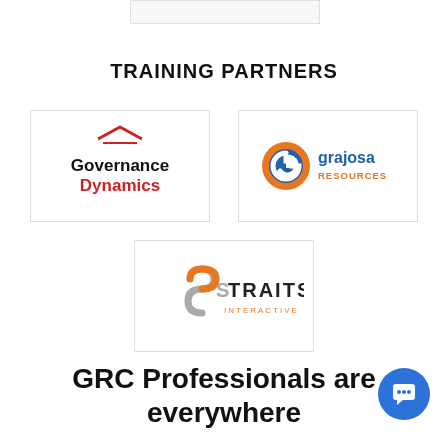TRAINING PARTNERS
[Figure (logo): Governance Dynamics logo — red roof/arrow mark above bold black 'Governance' and red 'Dynamics' text]
[Figure (logo): Grajosa Resources logo — circular blue/orange G icon with blue 'grajosa' text and orange 'RESOURCES' text]
[Figure (logo): Straits Interactive logo — orange/grey stylized S shape with 'STRAITS INTERACTIVE' text]
GRC Professionals are everywhere